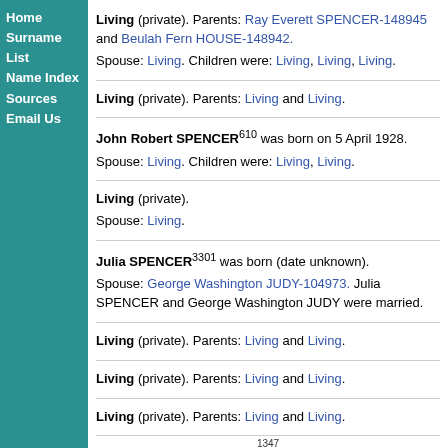Home
Surname List
Name Index
Sources
Email Us
Living (private). Parents: Ray Everett SPENCER-148945 and Beulah Fern HOUSE-148942.
Spouse: Living. Children were: Living, Living, Living.
Living (private). Parents: Living and Living.
John Robert SPENCER[610] was born on 5 April 1928.
Spouse: Living. Children were: Living, Living.
Living (private).
Spouse: Living.
Julia SPENCER[3301] was born (date unknown).
Spouse: George Washington JUDY-104973. Julia SPENCER and George Washington JUDY were married.
Living (private). Parents: Living and Living.
Living (private). Parents: Living and Living.
Living (private). Parents: Living and Living.
1347